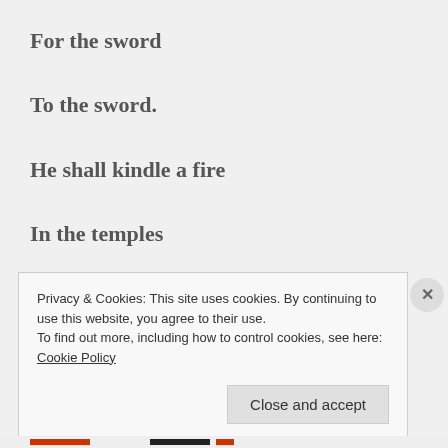For the sword
To the sword.
He shall kindle a fire
In the temples
Of the gods of Egypt.
Privacy & Cookies: This site uses cookies. By continuing to use this website, you agree to their use.
To find out more, including how to control cookies, see here: Cookie Policy